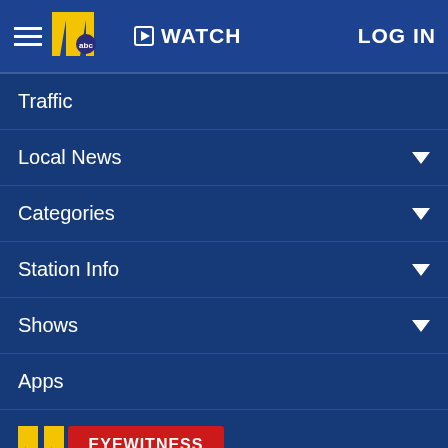WATCH | LOG IN | ABC 11 Eyewitness News navigation bar
Traffic
Local News
Categories
Station Info
Shows
Apps
[Figure (logo): ABC 11 Eyewitness News logo with yellow '11', ABC circle, and red/black EYEWITNESS NEWS banner]
Follow Us: [Facebook] [Twitter] [Instagram] [Email]
Privacy Policy
Do Not Sell My Personal Information